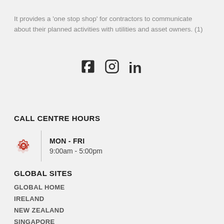It provides a 'one stop shop' for contractors to communicate about their planned activities with utilities and asset owners. (1)
[Figure (illustration): Social media icons: Facebook, Instagram, LinkedIn]
CALL CENTRE HOURS
MON - FRI
9:00am - 5:00pm
GLOBAL SITES
GLOBAL HOME
IRELAND
NEW ZEALAND
SINGAPORE